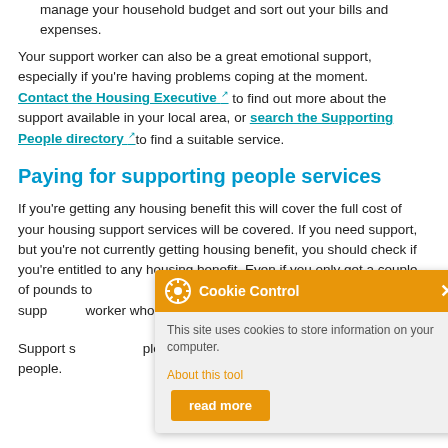manage your household budget and sort out your bills and expenses.
Your support worker can also be a great emotional support, especially if you're having problems coping at the moment. Contact the Housing Executive to find out more about the support available in your local area, or search the Supporting People directory to find a suitable service.
Paying for supporting people services
If you're getting any housing benefit this will cover the full cost of your housing support services will be covered. If you need support, but you're not currently getting housing benefit, you should check if you're entitled to any housing benefit. Even if you only get a couple of pounds to[...] will cover the full costs of your supp[...] worker who can help you apply for h[...]
Support s[...] ple who live in homeless hostels o[...] oung people.
[Figure (screenshot): Cookie Control popup overlay with orange header showing gear icon and title 'Cookie Control' with X close button. Body text: 'This site uses cookies to store information on your computer.' Footer has 'About this tool' link in orange and 'read more' orange button.]